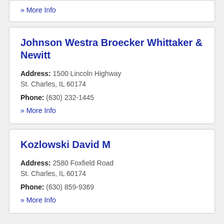» More Info
Johnson Westra Broecker Whittaker & Newitt
Address: 1500 Lincoln Highway St. Charles, IL 60174
Phone: (630) 232-1445
» More Info
Kozlowski David M
Address: 2580 Foxfield Road St. Charles, IL 60174
Phone: (630) 859-9369
» More Info